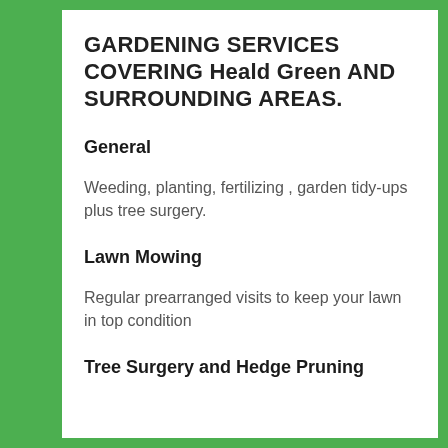GARDENING SERVICES COVERING Heald Green AND SURROUNDING AREAS.
General
Weeding, planting, fertilizing , garden tidy-ups plus tree surgery.
Lawn Mowing
Regular prearranged visits to keep your lawn in top condition
Tree Surgery and Hedge Pruning